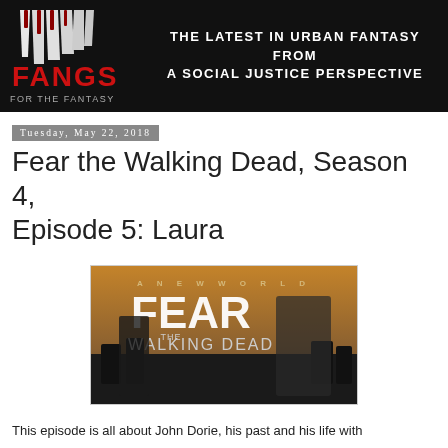Fangs for the Fantasy — The latest in urban fantasy from a social justice perspective
Tuesday, May 22, 2018
Fear the Walking Dead, Season 4, Episode 5: Laura
[Figure (photo): Fear the Walking Dead Season 4 promotional banner reading 'A New World' with cast members posing against a dramatic sky background]
This episode is all about John Dorie, his past and his life with